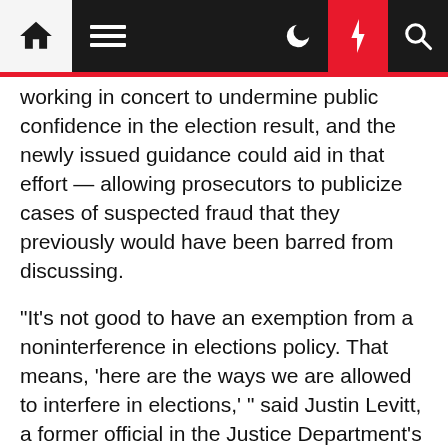Navigation bar with home, menu, dark mode, lightning/breaking news, and search icons
working in concert to undermine public confidence in the election result, and the newly issued guidance could aid in that effort — allowing prosecutors to publicize cases of suspected fraud that they previously would have been barred from discussing.
"It's not good to have an exemption from a noninterference in elections policy. That means, 'here are the ways we are allowed to interfere in elections,' " said Justin Levitt, a former official in the Justice Department's civil rights division who worked on voting issues. "I worry that this policy is a green light to use federal law enforcement investigations for partisan political purposes."
Matt Lloyd, a spokesman for the Justice Department's criminal division, said in a statement, "No political appointee had any role in directing,